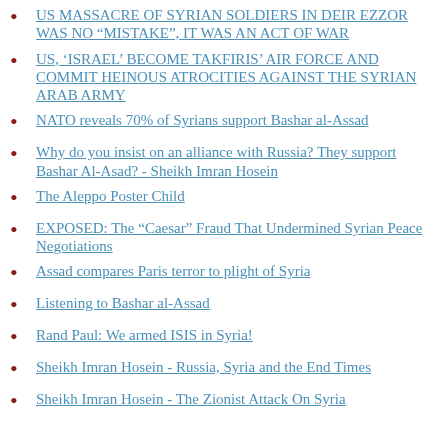US MASSACRE OF SYRIAN SOLDIERS IN DEIR EZZOR WAS NO “MISTAKE”, IT WAS AN ACT OF WAR
US, ‘ISRAEL’ BECOME TAKFIRIS’ AIR FORCE AND COMMIT HEINOUS ATROCITIES AGAINST THE SYRIAN ARAB ARMY
NATO reveals 70% of Syrians support Bashar al-Assad
Why do you insist on an alliance with Russia? They support Bashar Al-Asad? - Sheikh Imran Hosein
The Aleppo Poster Child
EXPOSED: The “Caesar” Fraud That Undermined Syrian Peace Negotiations
Assad compares Paris terror to plight of Syria
Listening to Bashar al-Assad
Rand Paul: We armed ISIS in Syria!
Sheikh Imran Hosein - Russia, Syria and the End Times
Sheikh Imran Hosein - The Zionist Attack On Syria